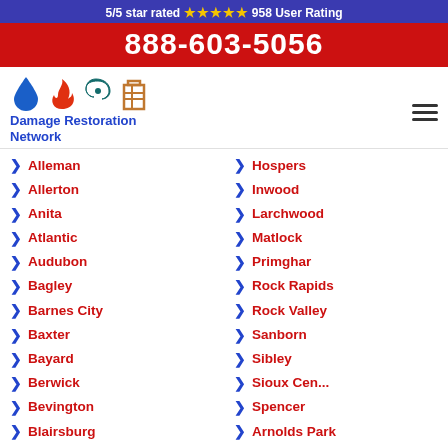5/5 star rated ⭐⭐⭐⭐⭐ 958 User Rating
888-603-5056
[Figure (logo): Damage Restoration Network logo with water drop, fire, hurricane, and building icons]
Alleman
Allerton
Anita
Atlantic
Audubon
Bagley
Barnes City
Baxter
Bayard
Berwick
Bevington
Blairsburg
Bondurant
Bouton
Hospers
Inwood
Larchwood
Matlock
Primghar
Rock Rapids
Rock Valley
Sanborn
Sibley
Sioux Cen...
Spencer
Arnolds Park
Dickens
Estherville